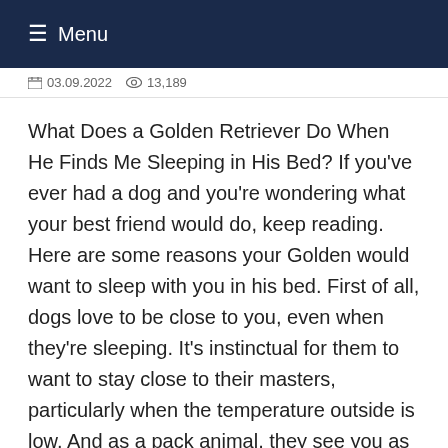☰ Menu
03.09.2022   13,189
What Does a Golden Retriever Do When He Finds Me Sleeping in His Bed? If you've ever had a dog and you're wondering what your best friend would do, keep reading. Here are some reasons your Golden would want to sleep with you in his bed. First of all, dogs love to be close to you, even when they're sleeping. It's instinctual for them to want to stay close to their masters, particularly when the temperature outside is low. And as a pack animal, they see you as the pack leader. So, when your dog finds you sleeping in his bed, he will try to keep you warm. Another common reason your dog might be jealous of you is because of your sleeping habits. Dogs are pack animals and naturally prefer to sleep close to family members, so they may prefer to sleep with their backs facing you. Even if they're not snuggled up, they may want to sleep at the foot of